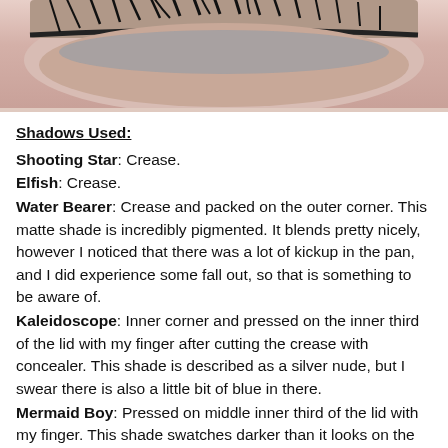[Figure (photo): Close-up photo of an eye with mascara and eyelashes visible against a light skin tone background]
Shadows Used:
Shooting Star: Crease.
Elfish: Crease.
Water Bearer: Crease and packed on the outer corner. This matte shade is incredibly pigmented. It blends pretty nicely, however I noticed that there was a lot of kickup in the pan, and I did experience some fall out, so that is something to be aware of.
Kaleidoscope: Inner corner and pressed on the inner third of the lid with my finger after cutting the crease with concealer. This shade is described as a silver nude, but I swear there is also a little bit of blue in there.
Mermaid Boy: Pressed on middle inner third of the lid with my finger. This shade swatches darker than it looks on the lid, that is for sure. When swatched it looks like it has a black base, but it